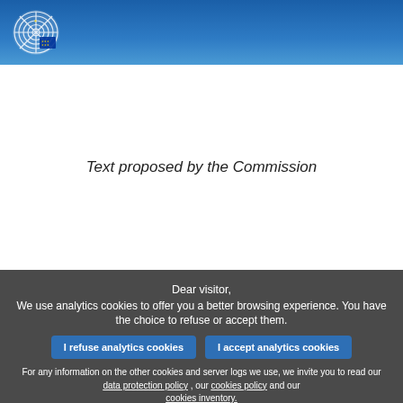[Figure (logo): European Parliament logo — circular emblem with EU stars on blue header bar]
Article
Text proposed by the Commission
Dear visitor,
We use analytics cookies to offer you a better browsing experience. You have the choice to refuse or accept them.
I refuse analytics cookies
I accept analytics cookies
For any information on the other cookies and server logs we use, we invite you to read our data protection policy , our cookies policy and our cookies inventory.